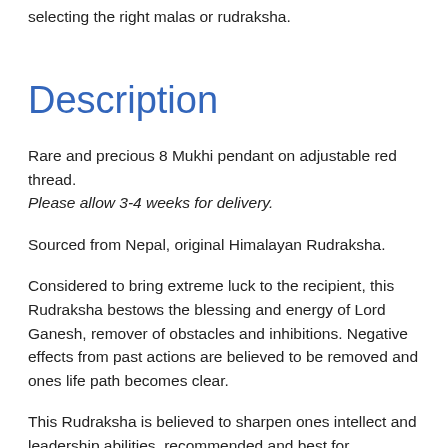selecting the right malas or rudraksha.
Description
Rare and precious 8 Mukhi pendant on adjustable red thread. Please allow 3-4 weeks for delivery.
Sourced from Nepal, original Himalayan Rudraksha.
Considered to bring extreme luck to the recipient, this Rudraksha bestows the blessing and energy of Lord Ganesh, remover of obstacles and inhibitions. Negative effects from past actions are believed to be removed and ones life path becomes clear.
This Rudraksha is believed to sharpen ones intellect and leadership abilities, recommended and best for intellectuals. The power of 8 mukhi also called...